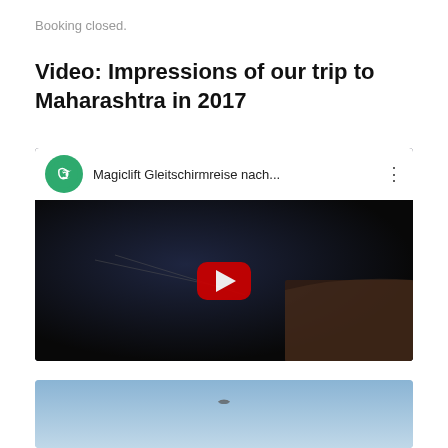Booking closed.
Video: Impressions of our trip to Maharashtra in 2017
[Figure (screenshot): YouTube video embed showing a paragliding video titled 'Magiclift Gleitschirmreise nach...' with a green channel logo, dark video thumbnail of a paragliding scene, and a red play button in the center.]
[Figure (photo): Partial photo showing a light blue sky with a small paraglider silhouette visible in the upper portion.]